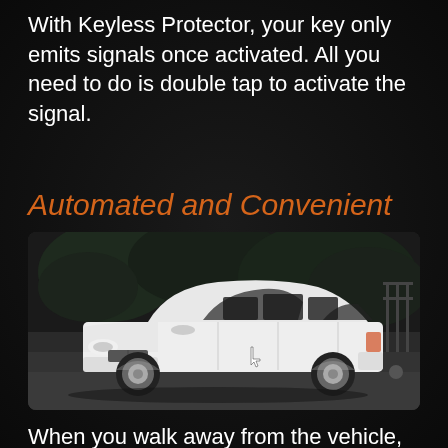With Keyless Protector, your key only emits signals once activated. All you need to do is double tap to activate the signal.
Automated and Convenient
[Figure (photo): White BMW 5-Series Gran Turismo sedan parked, photographed in black and white with trees in the background, cursor/hand pointer icon visible on the car body]
When you walk away from the vehicle,